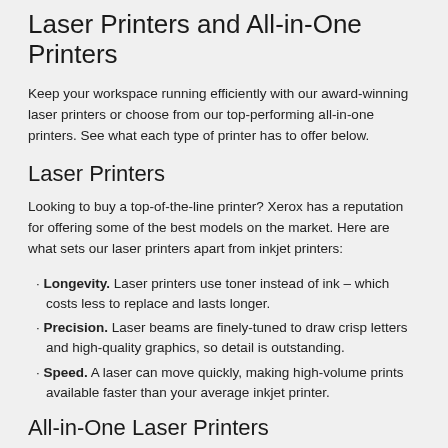Laser Printers and All-in-One Printers
Keep your workspace running efficiently with our award-winning laser printers or choose from our top-performing all-in-one printers. See what each type of printer has to offer below.
Laser Printers
Looking to buy a top-of-the-line printer? Xerox has a reputation for offering some of the best models on the market. Here are what sets our laser printers apart from inkjet printers:
Longevity. Laser printers use toner instead of ink – which costs less to replace and lasts longer.
Precision. Laser beams are finely-tuned to draw crisp letters and high-quality graphics, so detail is outstanding.
Speed. A laser can move quickly, making high-volume prints available faster than your average inkjet printer.
All-in-One Laser Printers